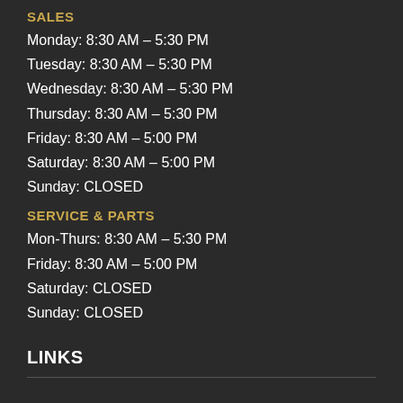SALES
Monday: 8:30 AM – 5:30 PM
Tuesday: 8:30 AM – 5:30 PM
Wednesday: 8:30 AM – 5:30 PM
Thursday: 8:30 AM – 5:30 PM
Friday: 8:30 AM – 5:00 PM
Saturday: 8:30 AM – 5:00 PM
Sunday: CLOSED
SERVICE & PARTS
Mon-Thurs: 8:30 AM – 5:30 PM
Friday: 8:30 AM – 5:00 PM
Saturday: CLOSED
Sunday: CLOSED
LINKS